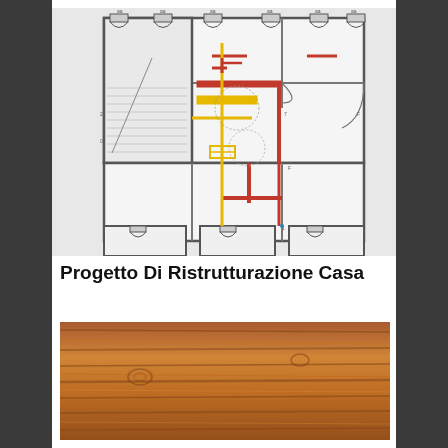[Figure (engineering-diagram): Architectural floor plan showing a residential building layout with multiple rooms, doors, windows, staircases, and highlighted renovation elements in red and yellow indicating walls to be removed or modified.]
Progetto Di Ristrutturazione Casa
[Figure (photo): Close-up photo of wood grain texture with warm brown tones, showing natural wood pattern used as a material sample.]